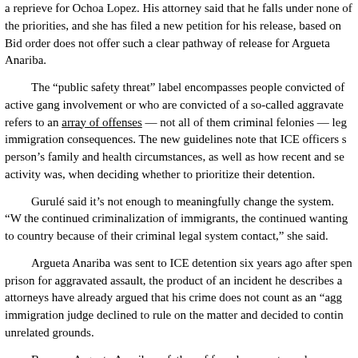a reprieve for Ochoa Lopez. His attorney said that he falls under none of the priorities, and she has filed a new petition for his release, based on Biden's order does not offer such a clear pathway of release for Argueta Anariba.
The “public safety threat” label encompasses people convicted of active gang involvement or who are convicted of a so-called aggravated refers to an array of offenses — not all of them criminal felonies — immigration consequences. The new guidelines note that ICE officers should consider a person’s family and health circumstances, as well as how recent and serious the criminal activity was, when deciding whether to prioritize their detention.
Gurulé said it’s not enough to meaningfully change the system. “W the continued criminalization of immigrants, the continued wanting to deport people from this country because of their criminal legal system contact,” she said.
Argueta Anariba was sent to ICE detention six years ago after spending time in prison for aggravated assault, the product of an incident he describes as self-defense. His attorneys have already argued that his crime does not count as an “aggravated felony” but an immigration judge declined to rule on the matter and decided to continue his detention on unrelated grounds.
By now, Argueta Anariba, a father of four, has spent nearly as much time in ICE detention as he did completing his prison sentence. Despite such a long detention under harsh conditions, Argueta Anariba is certain he will be killed if he is deported. His asylum case is pending.